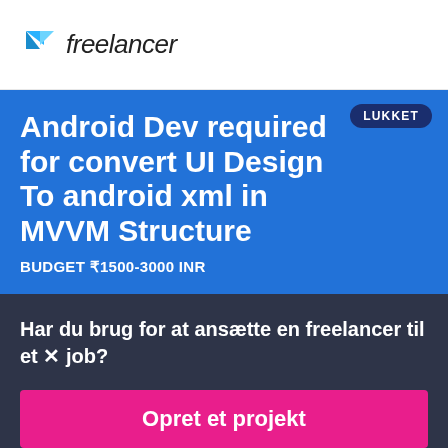[Figure (logo): Freelancer logo with blue angular bird icon and italic text 'freelancer']
Android Dev required for convert UI Design To android xml in MVVM Structure
BUDGET ₹1500-3000 INR
Har du brug for at ansætte en freelancer til et job?
Opret et projekt